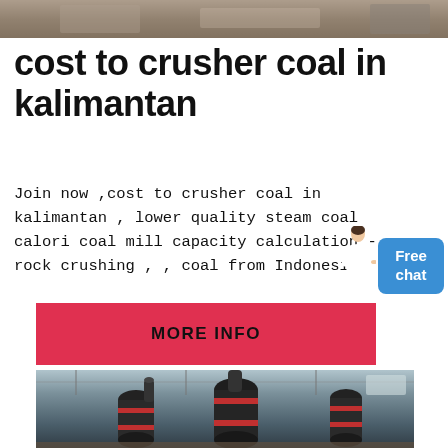[Figure (photo): Top portion of an industrial or outdoor scene, cropped at top of page]
cost to crusher coal in kalimantan
Join now ,cost to crusher coal in kalimantan , lower quality steam coal calori coal mill capacity calculation - rock crushing , , coal from Indonesia.
[Figure (illustration): Small illustration of a person/assistant figure in white clothing]
[Figure (other): Blue rounded rectangle button with text 'Free chat']
[Figure (other): Red/pink button with bold text 'MORE INFO']
[Figure (photo): Industrial facility interior showing coal mill or crusher machinery — large black cylindrical grinding mills in a factory warehouse with steel structure roof]